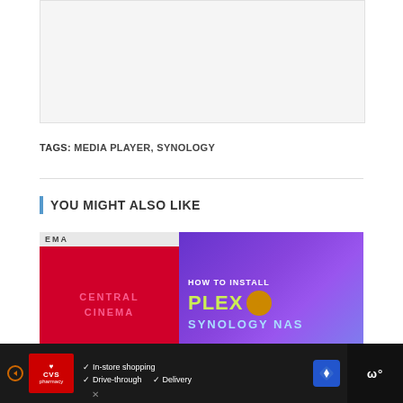[Figure (other): Light gray placeholder box at top of page]
TAGS: MEDIA PLAYER, SYNOLOGY
[Figure (photo): Left: Central Cinema neon sign with red lighting. Right: Purple gradient promotional image reading 'HOW TO INSTALL PLEX > SYNOLOGY NAS']
YOU MIGHT ALSO LIKE
[Figure (other): Advertisement bar: CVS Pharmacy ad with checkmarks for In-store shopping, Drive-through, and Delivery options, navigation icon, and dark panel on right]